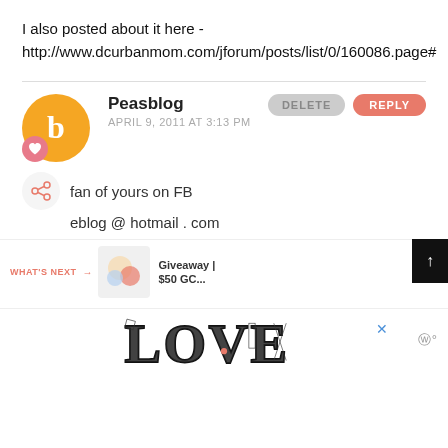I also posted about it here - http://www.dcurbanmom.com/jforum/posts/list/0/160086.page#
Peasblog
APRIL 9, 2011 AT 3:13 PM
fan of yours on FB
eblog @ hotmail . com
WHAT'S NEXT → Giveaway | $50 GC...
[Figure (illustration): LOVE text art with decorative patterns]